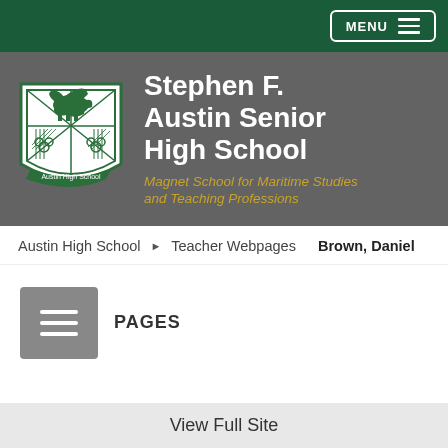[Figure (screenshot): MENU button with hamburger icon in top right corner on dark green banner]
[Figure (logo): Austin High School shield/crest logo with horse, diagonal cross pattern, and school name banner]
Stephen F. Austin Senior High School
Magnet School for Maritime Studies and Teaching Professions
Austin High School ▶ Teacher Webpages   Brown, Daniel
PAGES
Teacher Name
View Full Site